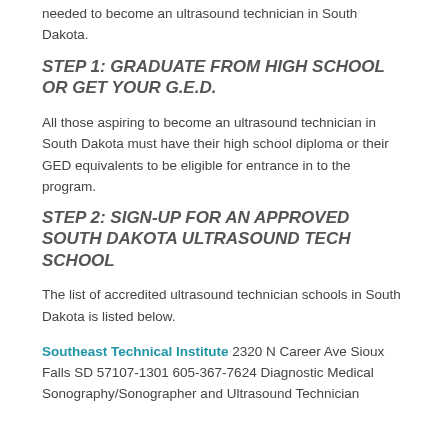needed to become an ultrasound technician in South Dakota.
STEP 1: GRADUATE FROM HIGH SCHOOL OR GET YOUR G.E.D.
All those aspiring to become an ultrasound technician in South Dakota must have their high school diploma or their GED equivalents to be eligible for entrance in to the program.
STEP 2: SIGN-UP FOR AN APPROVED SOUTH DAKOTA ULTRASOUND TECH SCHOOL
The list of accredited ultrasound technician schools in South Dakota is listed below.
Southeast Technical Institute 2320 N Career Ave Sioux Falls SD 57107-1301 605-367-7624 Diagnostic Medical Sonography/Sonographer and Ultrasound Technician